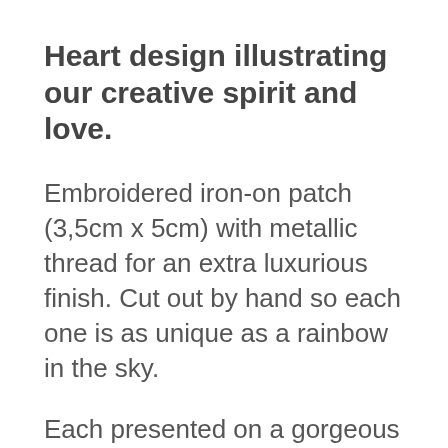Heart design illustrating our creative spirit and love.
Embroidered iron-on patch (3,5cm x 5cm) with metallic thread for an extra luxurious finish. Cut out by hand so each one is as unique as a rainbow in the sky.
Each presented on a gorgeous 600gr thick linen letterpress gift card and will be accompanied